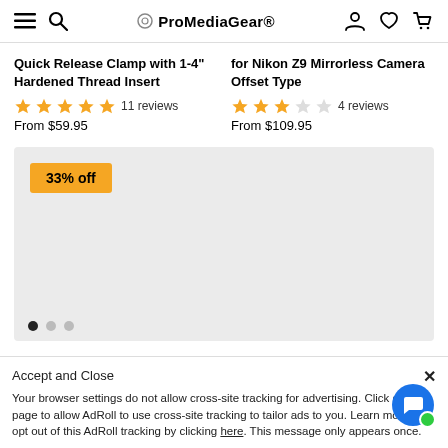ProMediaGear®
Quick Release Clamp with 1-4" Hardened Thread Insert
★★★★★ 11 reviews
From $59.95
for Nikon Z9 Mirrorless Camera Offset Type
★★★☆☆ 4 reviews
From $109.95
[Figure (photo): Product card with 33% off badge on gray background, with carousel dots below]
PXM1 HYBRID Manfrotto-Type ... Plate Built-in (Features Quick
Your browser settings do not allow cross-site tracking for advertising. Click on this page to allow AdRoll to use cross-site tracking to tailor ads to you. Learn more or opt out of this AdRoll tracking by clicking here. This message only appears once.